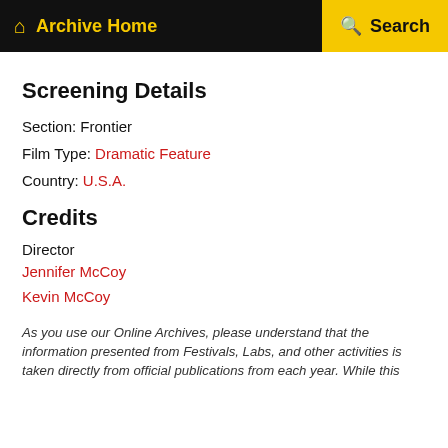Archive Home  Search
Screening Details
Section: Frontier
Film Type: Dramatic Feature
Country: U.S.A.
Credits
Director
Jennifer McCoy
Kevin McCoy
As you use our Online Archives, please understand that the information presented from Festivals, Labs, and other activities is taken directly from official publications from each year. While this